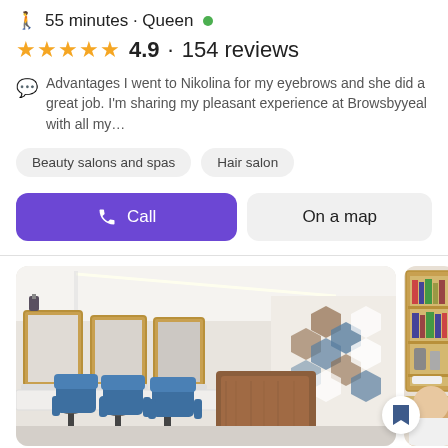55 minutes · Queen ●
★★★★★ 4.9 · 154 reviews
Advantages I went to Nikolina for my eyebrows and she did a great job. I'm sharing my pleasant experience at Browsbyyeal with all my…
Beauty salons and spas
Hair salon
Call
On a map
[Figure (photo): Interior of a beauty salon with blue styling chairs, wooden mirrors, pendant lights, reception desk, and decorative wall panels]
Old English Somewhere...